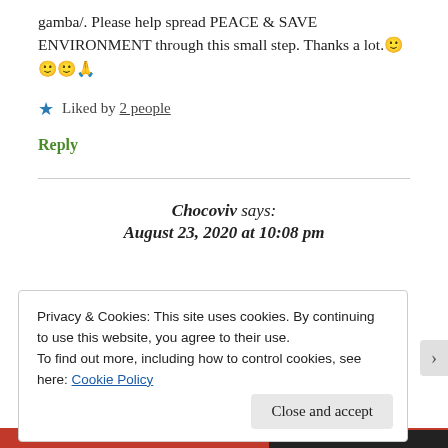gamba/. Please help spread PEACE & SAVE ENVIRONMENT through this small step. Thanks a lot.🙂🙂🙂🙏
★ Liked by 2 people
Reply
Chocoviv says: August 23, 2020 at 10:08 pm
Privacy & Cookies: This site uses cookies. By continuing to use this website, you agree to their use.
To find out more, including how to control cookies, see here: Cookie Policy